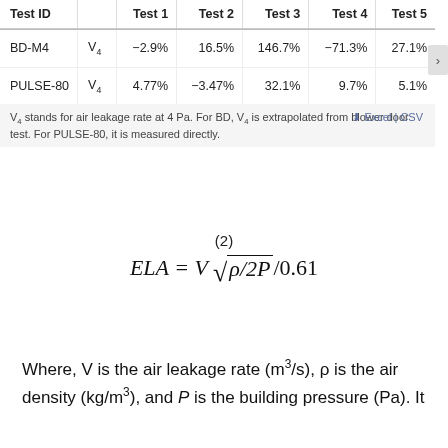| Test ID |  | Test 1 | Test 2 | Test 3 | Test 4 | Test 5 |
| --- | --- | --- | --- | --- | --- | --- |
| BD-M4 | V4 | -2.9% | 16.5% | 146.7% | -71.3% | 27.1% |
| PULSE-80 | V4 | 4.77% | -3.47% | 32.1% | 9.7% | 5.1% |
V4 stands for air leakage rate at 4 Pa. For BD, V4 is extrapolated from blower door test. For PULSE-80, it is measured directly.
Where, V is the air leakage rate (m³/s), ρ is the air density (kg/m³), and P is the building pressure (Pa). It